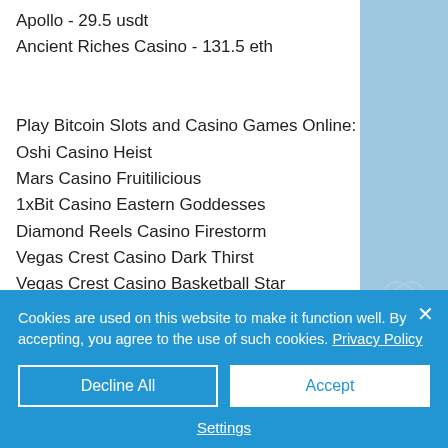Apollo - 29.5 usdt
Ancient Riches Casino - 131.5 eth
Play Bitcoin Slots and Casino Games Online:
Oshi Casino Heist
Mars Casino Fruitilicious
1xBit Casino Eastern Goddesses
Diamond Reels Casino Firestorm
Vegas Crest Casino Dark Thirst
Vegas Crest Casino Basketball Star
Betchan Casino Platoon
mBit Casino Jingle Bells
Cookies are used on this website to make it function well. By accepting, you agree to the use of such cookies. Privacy Policy
Decline All
Accept
Settings